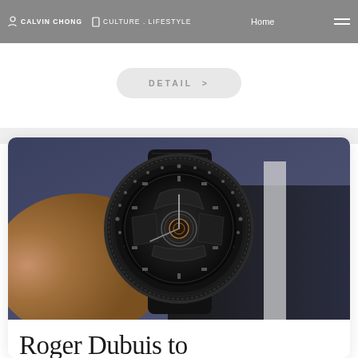CALVIN CHONG  CULTURE . LIFESTYLE  Home
DETAIL >
[Figure (photo): Close-up photo of a person wearing a black skeleton tourbillon luxury watch with an engraved carbon case, worn on a wrist dressed in a dark suit with a white shirt visible.]
Roger Dubuis to